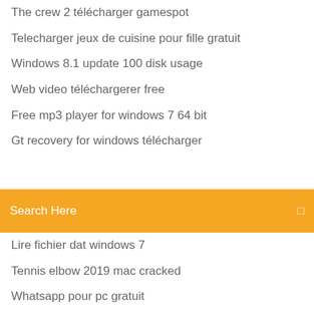The crew 2 télécharger gamespot
Telecharger jeux de cuisine pour fille gratuit
Windows 8.1 update 100 disk usage
Web video téléchargerer free
Free mp3 player for windows 7 64 bit
Gt recovery for windows télécharger
[Figure (screenshot): Search bar with orange background and text 'Search Here' with search icon on right]
Lire fichier dat windows 7
Tennis elbow 2019 mac cracked
Whatsapp pour pc gratuit
Telecharger hello neighbor alpha 5 gratuit
Whatsapp pour pc gratuit
Gps gratuit hors ligne windows phone
Comment avoir fortnite sur pc saison 8
Telecharger jeux spider solitaire windows xp
Comment mettre une publication sur instagram pc
Cest quoi paypal transaction id
Wps office for windows pc